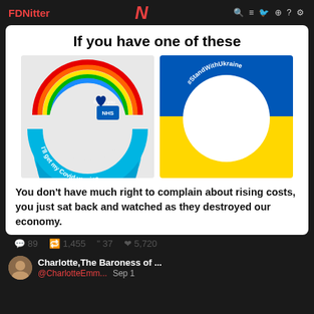FDNitter | N | search icons
[Figure (screenshot): Tweet card showing two profile picture frames: left is NHS rainbow 'I'll get my Covid vaccine' frame, right is blue and yellow #StandWithUkraine frame. Below is text: 'If you have one of these ... You don't have much right to complain about rising costs, you just sat back and watched as they destroyed our economy.']
89  1,455  37  5,720
Charlotte,The Baroness of ...  @CharlotteEmm...  Sep 1